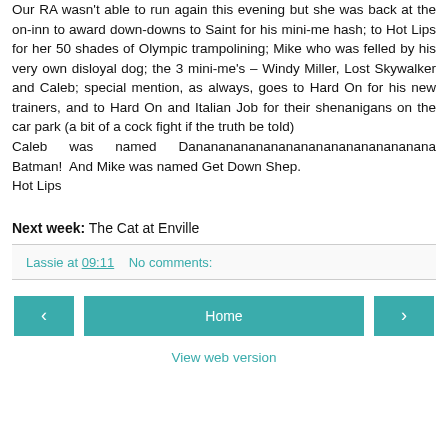Our RA wasn't able to run again this evening but she was back at the on-inn to award down-downs to Saint for his mini-me hash; to Hot Lips for her 50 shades of Olympic trampolining; Mike who was felled by his very own disloyal dog; the 3 mini-me's – Windy Miller, Lost Skywalker and Caleb; special mention, as always, goes to Hard On for his new trainers, and to Hard On and Italian Job for their shenanigans on the car park (a bit of a cock fight if the truth be told)
Caleb was named Danananananananananananananananana Batman!  And Mike was named Get Down Shep.
Hot Lips
Next week: The Cat at Enville
Lassie at 09:11    No comments:
Home | View web version